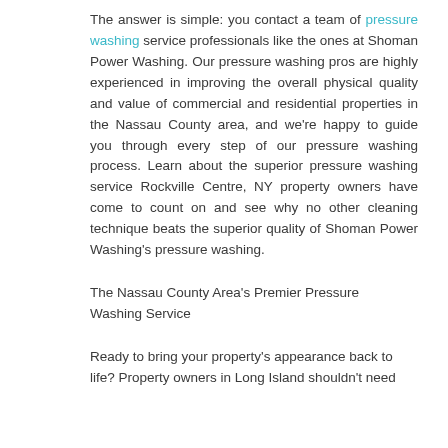The answer is simple: you contact a team of pressure washing service professionals like the ones at Shoman Power Washing. Our pressure washing pros are highly experienced in improving the overall physical quality and value of commercial and residential properties in the Nassau County area, and we're happy to guide you through every step of our pressure washing process. Learn about the superior pressure washing service Rockville Centre, NY property owners have come to count on and see why no other cleaning technique beats the superior quality of Shoman Power Washing's pressure washing.
The Nassau County Area's Premier Pressure Washing Service
Ready to bring your property's appearance back to life? Property owners in Long Island shouldn't need